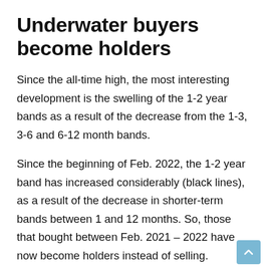Underwater buyers become holders
Since the all-time high, the most interesting development is the swelling of the 1-2 year bands as a result of the decrease from the 1-3, 3-6 and 6-12 month bands.
Since the beginning of Feb. 2022, the 1-2 year band has increased considerably (black lines), as a result of the decrease in shorter-term bands between 1 and 12 months. So, those that bought between Feb. 2021 – 2022 have now become holders instead of selling.
To summarize, the change in bands from Feb. to